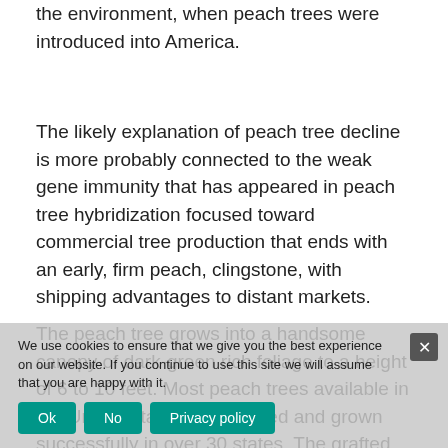the environment, when peach trees were introduced into America.
The likely explanation of peach tree decline is more probably connected to the weak gene immunity that has appeared in peach tree hybridization focused toward commercial tree production that ends with an early, firm peach, clingstone, with shipping advantages to distant markets.
The peach tree grows into a handsome canopy of dark-green rich foliage to a height of 6 to 10 feet. Most peach trees available in the United States are adapted and grown successfully in over 30 states. The grafted se... would be self pollin...